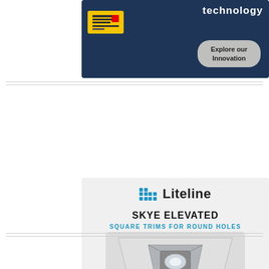[Figure (illustration): Advertisement banner with dark navy background showing 'technology' text, a yellow product label tag, and a rounded button reading 'Explore our Innovation']
[Figure (illustration): Liteline advertisement for 'SKYE ELEVATED - Square Trims for Round Holes' showing a square recessed light trim product, with text 'LIVE WEBINAR AUGUST 25TH' and a blue button 'JOIN US TO LEARN MORE']
[Figure (illustration): Bottom advertisement banner with dark blue background, partially visible logo and diagonal graphic element]